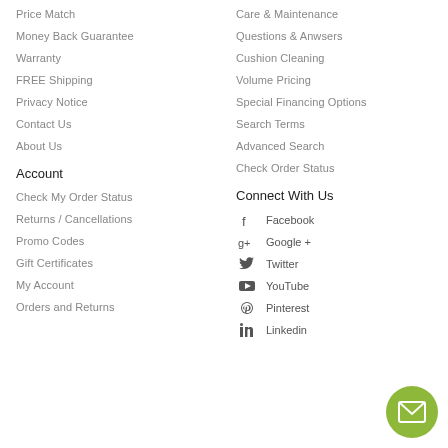Price Match
Money Back Guarantee
Warranty
FREE Shipping
Privacy Notice
Contact Us
About Us
Care & Maintenance
Questions & Anwsers
Cushion Cleaning
Volume Pricing
Special Financing Options
Search Terms
Advanced Search
Check Order Status
Account
Check My Order Status
Returns / Cancellations
Promo Codes
Gift Certificates
My Account
Orders and Returns
Connect With Us
Facebook
Google +
Twitter
YouTube
Pinterest
Linkedin